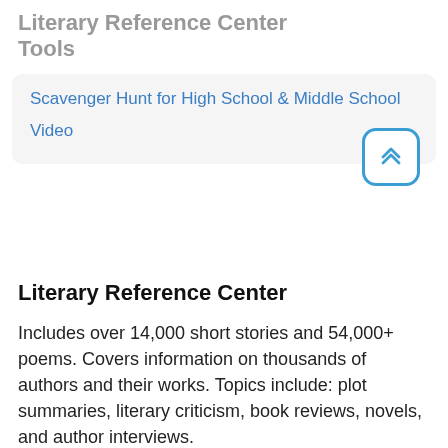Literary Reference Center Tools
Scavenger Hunt for High School & Middle School
Video
Literary Reference Center
Includes over 14,000 short stories and 54,000+ poems. Covers information on thousands of authors and their works. Topics include: plot summaries, literary criticism, book reviews, novels, and author interviews.